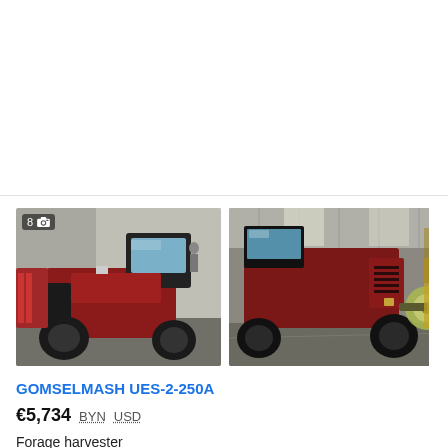[Figure (photo): Two photos of a red Gomselmash UES-2-250A forage harvester machine inside an agricultural building. Left photo shows front-side view with photo count badge '8' and camera icon. Right photo shows rear-side view of the same machine.]
GOMSELMASH UES-2-250A
€5,734  BYN  USD
Forage harvester